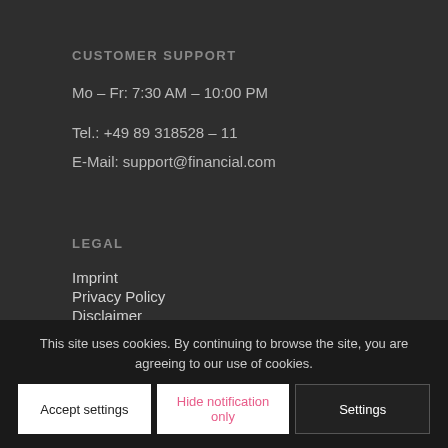CUSTOMER SUPPORT
Mo – Fr: 7:30 AM – 10:00 PM
Tel.: +49 89 318528 – 11
E-Mail: support@financial.com
LEGAL
Imprint
Privacy Policy
Disclaimer
Informationspflichten
This site uses cookies. By continuing to browse the site, you are agreeing to our use of cookies.